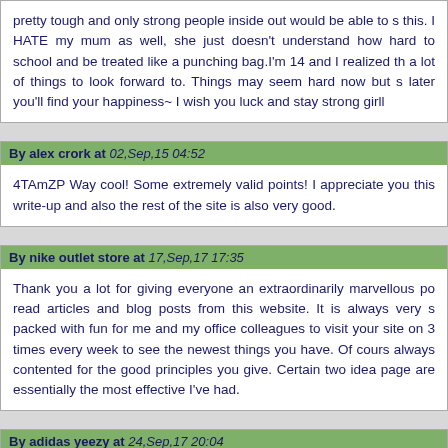pretty tough and only strong people inside out would be able to s this. I HATE my mum as well, she just doesn't understand how hard to school and be treated like a punching bag.I'm 14 and I realized th a lot of things to look forward to. Things may seem hard now but s later you'll find your happiness~ I wish you luck and stay strong girll
By alex crork at 02,Sep,15 04:52
4TAmZP Way cool! Some extremely valid points! I appreciate you this write-up and also the rest of the site is also very good.
By nike outlet store at 17,Sep,17 17:35
Thank you a lot for giving everyone an extraordinarily marvellous po read articles and blog posts from this website. It is always very s packed with fun for me and my office colleagues to visit your site on 3 times every week to see the newest things you have. Of cours always contented for the good principles you give. Certain two idea page are essentially the most effective I've had.
By adidas yeezy at 24,Sep,17 20:04